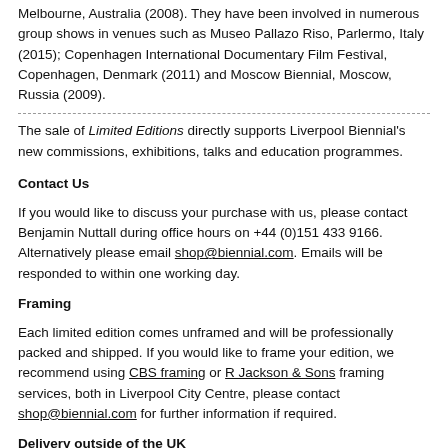Melbourne, Australia (2008). They have been involved in numerous group shows in venues such as Museo Pallazo Riso, Parlermo, Italy (2015); Copenhagen International Documentary Film Festival, Copenhagen, Denmark (2011) and Moscow Biennial, Moscow, Russia (2009).
The sale of Limited Editions directly supports Liverpool Biennial's new commissions, exhibitions, talks and education programmes.
Contact Us
If you would like to discuss your purchase with us, please contact Benjamin Nuttall during office hours on +44 (0)151 433 9166. Alternatively please email shop@biennial.com. Emails will be responded to within one working day.
Framing
Each limited edition comes unframed and will be professionally packed and shipped. If you would like to frame your edition, we recommend using CBS framing or R Jackson & Sons framing services, both in Liverpool City Centre, please contact shop@biennial.com for further information if required.
Delivery outside of the UK
Please note orders outside of the UK may be subject to additional duty and VAT costs dependent on the country the item is being sent to, please contact